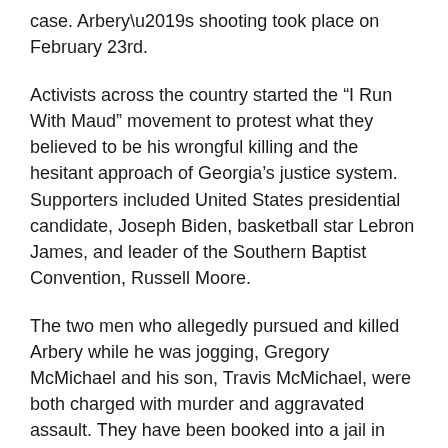case. Arbery's shooting took place on February 23rd.
Activists across the country started the “I Run With Maud” movement to protest what they believed to be his wrongful killing and the hesitant approach of Georgia’s justice system. Supporters included United States presidential candidate, Joseph Biden, basketball star Lebron James, and leader of the Southern Baptist Convention, Russell Moore.
The two men who allegedly pursued and killed Arbery while he was jogging, Gregory McMichael and his son, Travis McMichael, were both charged with murder and aggravated assault. They have been booked into a jail in Glynn County, Georgia. Sign below to thank the “I Run With Maud” movement for their hard work bringing justice to Ahmaud Arbery.